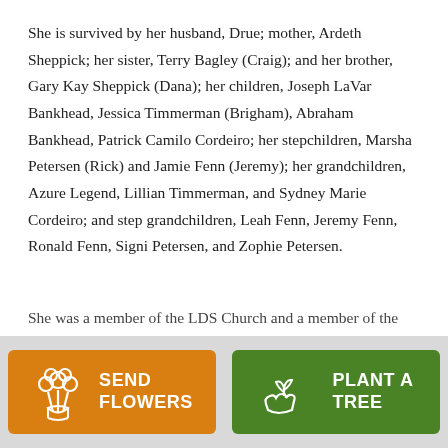She is survived by her husband, Drue; mother, Ardeth Sheppick; her sister, Terry Bagley (Craig); and her brother, Gary Kay Sheppick (Dana); her children, Joseph LaVar Bankhead, Jessica Timmerman (Brigham), Abraham Bankhead, Patrick Camilo Cordeiro; her stepchildren, Marsha Petersen (Rick) and Jamie Fenn (Jeremy); her grandchildren, Azure Legend, Lillian Timmerman, and Sydney Marie Cordeiro; and step grandchildren, Leah Fenn, Jeremy Fenn, Ronald Fenn, Signi Petersen, and Zophie Petersen.
She was a member of the LDS Church and a member of the
[Figure (other): Two buttons at bottom: orange 'SEND FLOWERS' with flower bouquet icon, and green 'PLANT A TREE' with seedling hand icon]